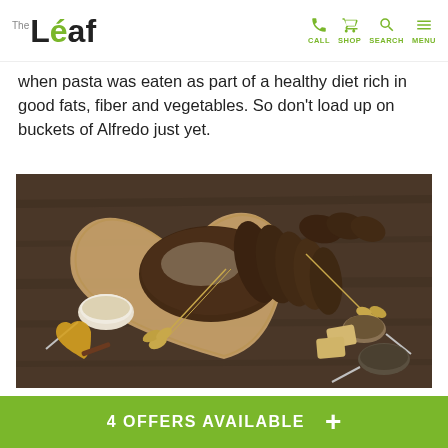The Leaf — CALL SHOP SEARCH MENU
when pasta was eaten as part of a healthy diet rich in good fats, fiber and vegetables. So don't load up on buckets of Alfredo just yet.
[Figure (photo): Sliced dark rye bread arranged on a heart-shaped wooden cutting board, surrounded by wheat stalks, small bowls of seeds and grains, and a heart-shaped dish with olive oil and spices, on a dark wooden background.]
4 OFFERS AVAILABLE +